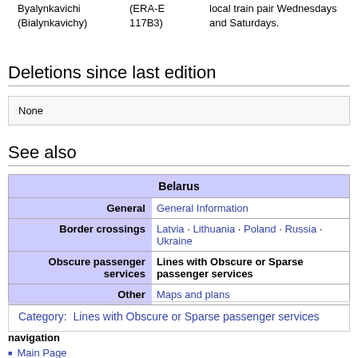Byalynkavichi (Bialynkavichy) | (ERA-E 117B3) | local train pair Wednesdays and Saturdays.
Deletions since last edition
None
See also
| Belarus |
| --- |
| General | General Information |
| Border crossings | Latvia · Lithuania · Poland · Russia · Ukraine |
| Obscure passenger services | Lines with Obscure or Sparse passenger services |
| Other | Maps and plans |
Category: Lines with Obscure or Sparse passenger services
navigation
Main Page
List of Countries